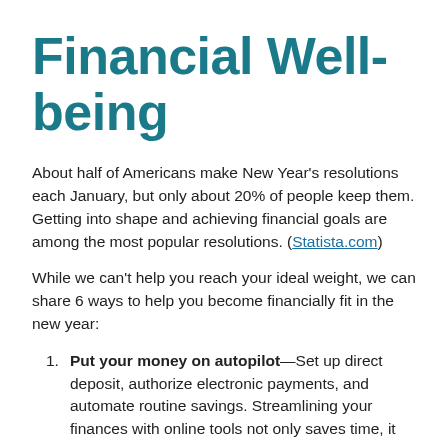Financial Well-being
About half of Americans make New Year's resolutions each January, but only about 20% of people keep them. Getting into shape and achieving financial goals are among the most popular resolutions. (Statista.com)
While we can't help you reach your ideal weight, we can share 6 ways to help you become financially fit in the new year:
Put your money on autopilot—Set up direct deposit, authorize electronic payments, and automate routine savings. Streamlining your finances with online tools not only saves time, it